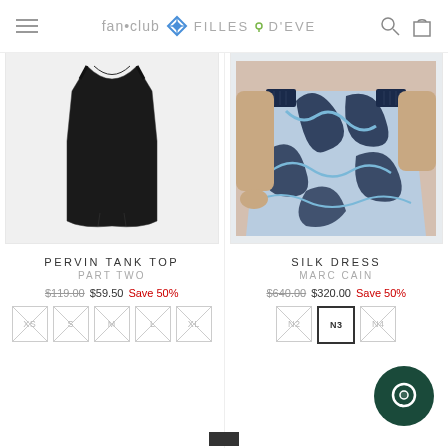fan•club + FILLES D'EVE
[Figure (photo): Black tank top / sleeveless dress on white background]
PERVIN TANK TOP
PART TWO
$119.00 $59.50 Save 50%
Size options: XS, S, M, L, XL (all crossed out / unavailable)
[Figure (photo): Model wearing a navy and white abstract print silk dress]
SILK DRESS
MARC CAIN
$640.00 $320.00 Save 50%
Size options: N2 (unavailable), N3 (selected), N4 (unavailable)